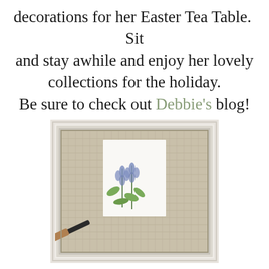decorations for her Easter Tea Table.  Sit and stay awhile and enjoy her lovely collections for the holiday.
Be sure to check out Debbie's blog!
[Figure (photo): A white distressed picture frame containing a botanical print of blue lupine flowers on a burlap/linen mat, hung on a wall. A dark rod or tool handle is visible in the lower left corner.]
Go check out Happy at Home's post Burlap Photo Mats!